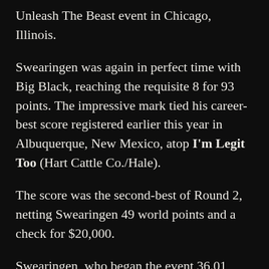Unleash The Beast event in Chicago, Illinois.
Swearingen was again in perfect time with Big Black, reaching the requisite 8 for 93 points. The impressive mark tied his career-best score registered earlier this year in Albuquerque, New Mexico, atop I'm Legit Too (Hart Cattle Co./Hale).
The score was the second-best of Round 2, netting Swearingen 49 world points and a check for $20,000.
Swearingen, who began the event 36.01 points back, is now with a slim 3.01 points of No. 1 Vieira and is seventh on the overall leaderboard for the World Finals event title.